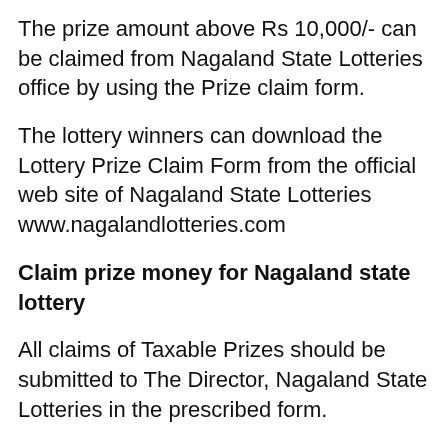The prize amount above Rs 10,000/- can be claimed from Nagaland State Lotteries office by using the Prize claim form.
The lottery winners can download the Lottery Prize Claim Form from the official web site of Nagaland State Lotteries www.nagalandlotteries.com
Claim prize money for Nagaland state lottery
All claims of Taxable Prizes should be submitted to The Director, Nagaland State Lotteries in the prescribed form.
The form should be filled clearly showing the Name of the claimant, Postal Address Name of the Lottery, Prize amount, PAN Number, Contact Number and Bank